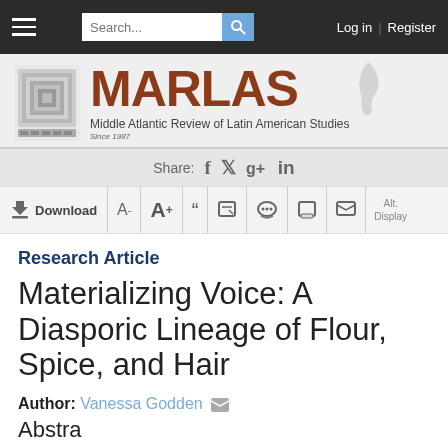MARLAS — Middle Atlantic Review of Latin American Studies — Navigation bar with Search, Log in, Register
[Figure (logo): MARLAS journal logo with Aztec-style illustration and text 'MARLAS Middle Atlantic Review of Latin American Studies Since 1987']
Share: f  in
Download  A-  A+  "  edit  comment  print  mail  Alt. Display
Research Article
Materializing Voice: A Diasporic Lineage of Flour, Spice, and Hair
Author: Vanessa Godden
Abstract